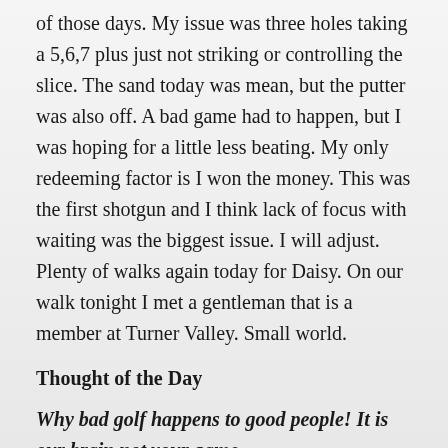of those days. My issue was three holes taking a 5,6,7 plus just not striking or controlling the slice. The sand today was mean, but the putter was also off. A bad game had to happen, but I was hoping for a little less beating. My only redeeming factor is I won the money. This was the first shotgun and I think lack of focus with waiting was the biggest issue. I will adjust. Plenty of walks again today for Daisy. On our walk tonight I met a gentleman that is a member at Turner Valley. Small world.
Thought of the Day
Why bad golf happens to good people! It is our brain not your game.